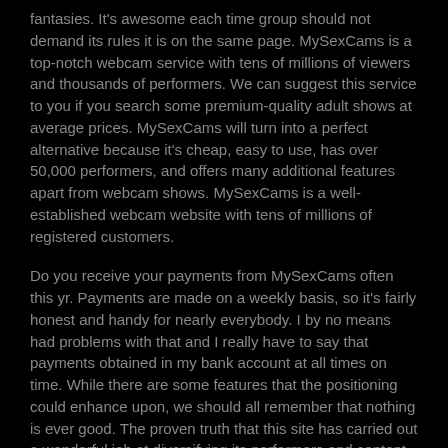fantasies. It's awesome each time group should not demand its rules it is on the same page. MySexCams is a top-notch webcam service with tens of millions of viewers and thousands of performers. We can suggest this service to you if you search some premium-quality adult shows at average prices. MySexCams will turn into a perfect alternative because it's cheap, easy to use, has over 50,000 performers, and offers many additional features apart from webcam shows. MySexCams is a well-established webcam website with tens of millions of registered customers.
Do you receive your payments from MySexCams often this yr. Payments are made on a weekly basis, so it's fairly honest and handy for nearly everybody. I by no means had problems with that and I really have to say that payments obtained in my bank account at all times on time. While there are some features that the positioning could enhance upon, we should all remember that nothing is ever good. The proven truth that this site has carried out a wonderful job at diversifying its performers and content says all you should know. As you can imagine, being caught inside your home with very restricted social interplay doesn't go away for a lot in the way in which of sex work.